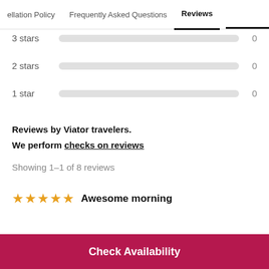cellation Policy   Frequently Asked Questions   Reviews
3 stars  0
2 stars  0
1 star  0
Reviews by Viator travelers.
We perform checks on reviews
Showing 1-1 of 8 reviews
★★★★★ Awesome morning
Check Availability